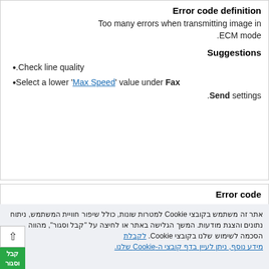Error code definition
Too many errors when transmitting image in ECM mode.
Suggestions
Check line quality.
Select a lower 'Max Speed' value under Fax Send settings.
Error code
80C
אתר זה משתמש בקובצי Cookie למטרות שונות, כולל שיפור חוויית המשתמש, ניתוח נתונים והצגת מודעות. המשך הגלישה באתר או לחיצה על "קבל וסגור", מהווה הסכמה לשימוש שלנו בקובצי Cookie. לקבלת מידע נוסף, ניתן לעיין בדף קובצי ה-Cookie שלנו.